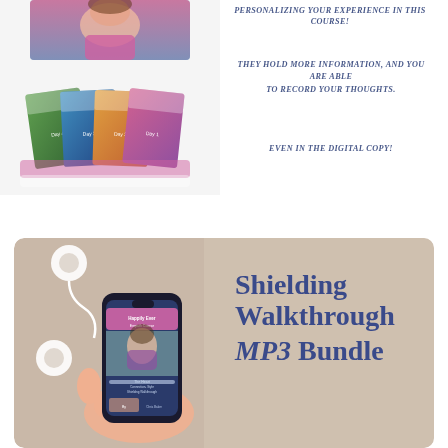[Figure (photo): Stack of physical book/DVD course materials with colorful photo covers and pink/white design elements]
PERSONALIZING YOUR EXPERIENCE IN THIS COURSE!
THEY HOLD MORE INFORMATION, AND YOU ARE ABLE TO RECORD YOUR THOUGHTS.
EVEN IN THE DIGITAL COPY!
[Figure (photo): Person holding a smartphone displaying the Heart Connection-Style Shielding Walkthrough course, with white earbuds on a beige background]
Shielding Walkthrough MP3 Bundle